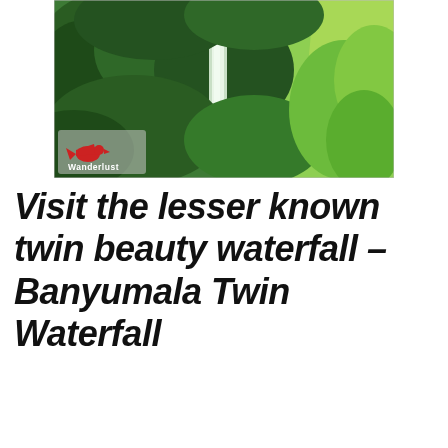[Figure (photo): Lush tropical jungle scene with a waterfall visible in the background centre, surrounded by dense green foliage and rice terraces. A watermark/logo for 'Wanderlust' with a red bird graphic appears in the lower-left corner of the photo.]
Visit the lesser known twin beauty waterfall – Banyumala Twin Waterfall